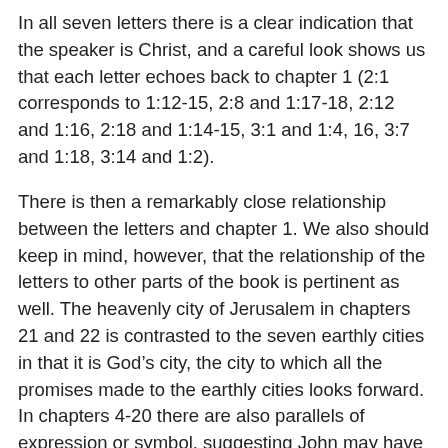In all seven letters there is a clear indication that the speaker is Christ, and a careful look shows us that each letter echoes back to chapter 1 (2:1 corresponds to 1:12-15, 2:8 and 1:17-18, 2:12 and 1:16, 2:18 and 1:14-15, 3:1 and 1:4, 16, 3:7 and 1:18, 3:14 and 1:2).
There is then a remarkably close relationship between the letters and chapter 1. We also should keep in mind, however, that the relationship of the letters to other parts of the book is pertinent as well. The heavenly city of Jerusalem in chapters 21 and 22 is contrasted to the seven earthly cities in that it is God’s city, the city to which all the promises made to the earthly cities looks forward. In chapters 4-20 there are also parallels of expression or symbol, suggesting John may have had the circumstances of the churches in mind, calling for patient endurance and faithfulness, giving warnings against idolatry, and Satan’s powerful and attractive deceptions. The point we need to continue to focus on is that there is an internal coherence to the book as different parts relate to each other. Going further, we could also say there is an overall coherence between the Apocalypse and the rest of Scripture. Systematic and precise divisions fail to do justice